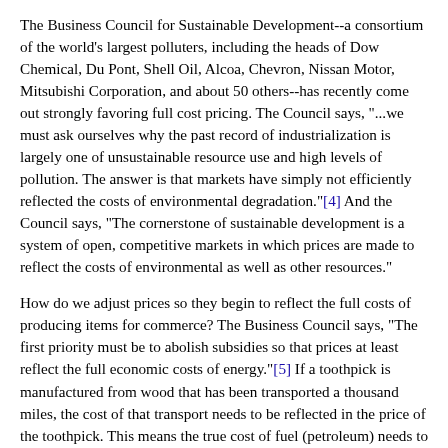The Business Council for Sustainable Development--a consortium of the world's largest polluters, including the heads of Dow Chemical, Du Pont, Shell Oil, Alcoa, Chevron, Nissan Motor, Mitsubishi Corporation, and about 50 others--has recently come out strongly favoring full cost pricing. The Council says, "...we must ask ourselves why the past record of industrialization is largely one of unsustainable resource use and high levels of pollution. The answer is that markets have simply not efficiently reflected the costs of environmental degradation."[4] And the Council says, "The cornerstone of sustainable development is a system of open, competitive markets in which prices are made to reflect the costs of environmental as well as other resources."
How do we adjust prices so they begin to reflect the full costs of producing items for commerce? The Business Council says, "The first priority must be to abolish subsidies so that prices at least reflect the full economic costs of energy."[5] If a toothpick is manufactured from wood that has been transported a thousand miles, the cost of that transport needs to be reflected in the price of the toothpick. This means the true cost of fuel (petroleum) needs to be factored into the price of the toothpick. So long as the price of oil is kept artificially low by hidden subsidies to the petroleum industry, the price of toothpicks is kept artificially low and the true costs of producing toothpicks will not be reflected in the price paid by the consumer for the toothpick.